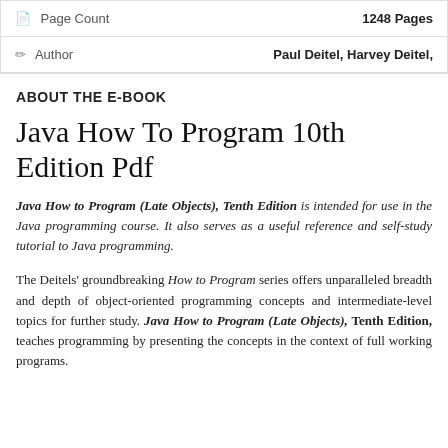|  |  |
| --- | --- |
| 📄 Page Count | 1248 Pages |
| ✏ Author | Paul Deitel, Harvey Deitel, |
ABOUT THE E-BOOK
Java How To Program 10th Edition Pdf
Java How to Program (Late Objects), Tenth Edition is intended for use in the Java programming course. It also serves as a useful reference and self-study tutorial to Java programming.
The Deitels' groundbreaking How to Program series offers unparalleled breadth and depth of object-oriented programming concepts and intermediate-level topics for further study. Java How to Program (Late Objects), Tenth Edition, teaches programming by presenting the concepts in the context of full working programs.